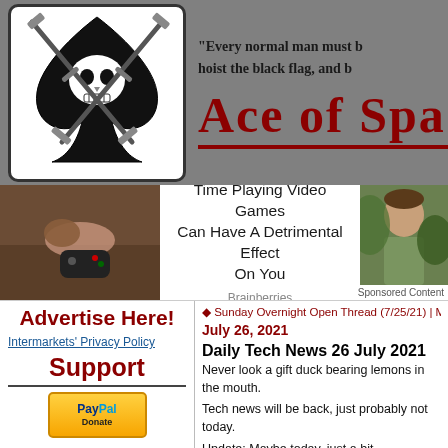[Figure (illustration): Ace of Spades HQ logo: skull and crossbones pirate logo in black and white inside a rounded square border]
"Every normal man must b... hoist the black flag, and b...
Ace of Spa...
[Figure (photo): Child lying on floor playing with game controller (left side of ad)]
Time Playing Video Games Can Have A Detrimental Effect On You
Brainberries
[Figure (photo): Man outdoors, partial view (right side of ad)]
Sponsored Content
Sunday Overnight Open Thread (7/25/21) | Main | T...
July 26, 2021
Daily Tech News 26 July 2021
Never look a gift duck bearing lemons in the mouth.
Tech news will be back, just probably not today.
Update: Maybe today, just a bit.
Tech News
Advertise Here!
Intermarkets' Privacy Policy
Support
[Figure (logo): PayPal Donate button in yellow/orange gradient]